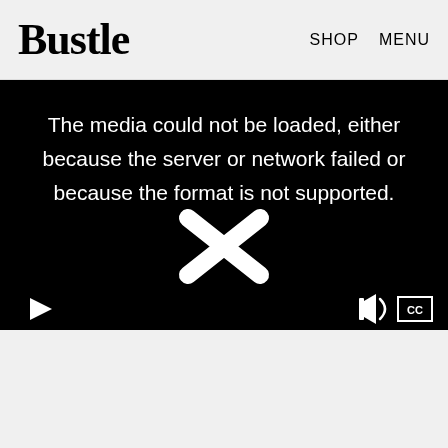Bustle  SHOP  MENU
[Figure (screenshot): Video player with black background showing error message: 'The media could not be loaded, either because the server or network failed or because the format is not supported.' An X icon is overlaid in the center. Video controls at bottom show play button, volume icon, and CC button.]